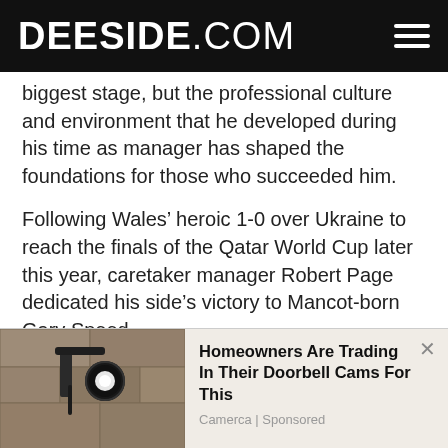DEESIDE.COM
biggest stage, but the professional culture and environment that he developed during his time as manager has shaped the foundations for those who succeeded him.
Following Wales’ heroic 1-0 over Ukraine to reach the finals of the Qatar World Cup later this year, caretaker manager Robert Page dedicated his side’s victory to Mancot-born Gary Speed.
Page is the third man to coach Wales since Gary Speed’s untimely death in 2011 at the age of just 41
[Figure (photo): Photo of an outdoor wall-mounted light fixture / security camera on a stone wall]
Homeowners Are Trading In Their Doorbell Cams For This
Camerca | Sponsored